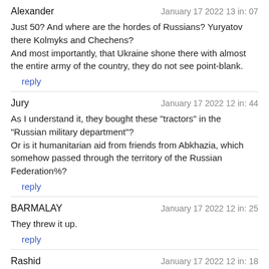Alexander — January 17 2022 13 in: 07
Just 50? And where are the hordes of Russians? Yuryatov there Kolmyks and Chechens?
And most importantly, that Ukraine shone there with almost the entire army of the country, they do not see point-blank.
reply
Jury — January 17 2022 12 in: 44
As I understand it, they bought these "tractors" in the "Russian military department"?
Or is it humanitarian aid from friends from Abkhazia, which somehow passed through the territory of the Russian Federation%?
reply
BARMALAY — January 17 2022 12 in: 25
They threw it up.
reply
Rashid — January 17 2022 12 in: 18
Each barrel has a plug.
reply
Jury — January 17 2022 11 in: 09
You are right - these were tractors and combines, as well as